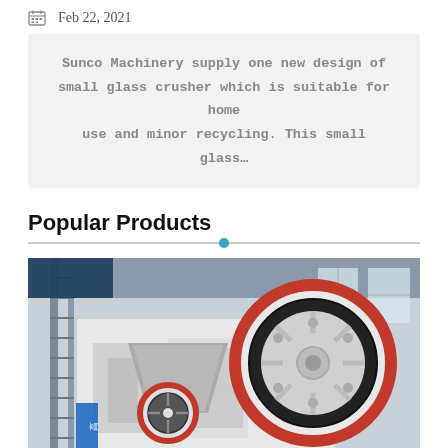Feb 22, 2021
Sunco Machinery supply one new design of small glass crusher which is suitable for home use and minor recycling. This small glass…
Popular Products
[Figure (photo): Industrial jaw crusher machine with red and black flywheel in a factory setting.]